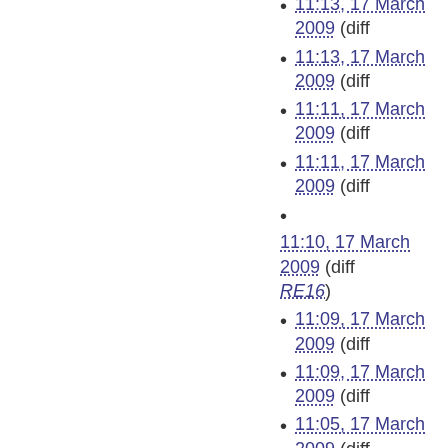11:13, 17 March 2009 (diff
11:13, 17 March 2009 (diff
11:11, 17 March 2009 (diff
11:11, 17 March 2009 (diff
11:10, 17 March 2009 (diff RE16)
11:09, 17 March 2009 (diff
11:09, 17 March 2009 (diff
11:05, 17 March 2009 (diff
11:01, 17 March 2009 (diff
11:00, 17 March 2009 (diff
10:59, 17 March 2009 (diff
10:57, 17 March 2009 (diff
10:57, 17 March 2009 (diff
10:56, 17 March 2009 (diff
10:56, 17 March 2009 (diff
10:55, 17 March 2009 (diff
10:54, 17 March 2009 (diff